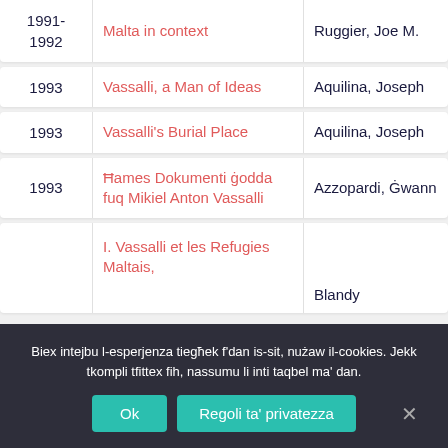| Year | Title | Author | Pages |
| --- | --- | --- | --- |
| 1991-1992 | Malta in context | Ruggier, Joe M. | 21- |
| 1993 | Vassalli, a Man of Ideas | Aquilina, Joseph | 23- |
| 1993 | Vassalli's Burial Place | Aquilina, Joseph | 23- |
| 1993 | Ħames Dokumenti ġodda fuq Mikiel Anton Vassalli | Azzopardi, Ġwann | 23- |
|  | I. Vassalli et les Refugies Maltais, | Blandy |  |
Biex intejbu l-esperjenza tiegħek f'dan is-sit, nużaw il-cookies. Jekk tkompli tfittex fih, nassumu li inti taqbel ma' dan.